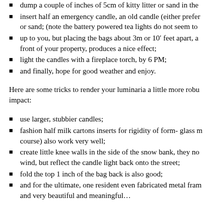dump a couple of inches of 5cm of kitty litter or sand in the
insert half an emergency candle, an old candle (either prefer or sand; (note the battery powered tea lights do not seem to
up to you, but placing the bags about 3m or 10’ feet apart, al front of your property, produces a nice effect;
light the candles with a fireplace torch, by 6 PM;
and finally, hope for good weather and enjoy.
Here are some tricks to render your luminaria a little more robu impact:
use larger, stubbier candles;
fashion half milk cartons inserts for rigidity of form- glass m course) also work very well;
create little knee walls in the side of the snow bank, they no wind, but reflect the candle light back onto the street;
fold the top 1 inch of the bag back is also good;
and for the ultimate, one resident even fabricated metal fram and very beautiful and meaningful…